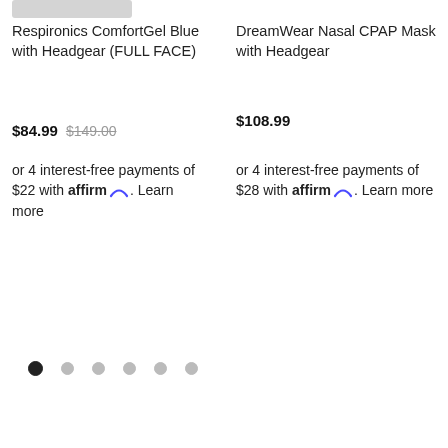[Figure (photo): Partial product image at top of left column (cropped, showing bottom edge of a CPAP mask product)]
Respironics ComfortGel Blue with Headgear (FULL FACE)
$84.99  $149.00
or 4 interest-free payments of $22 with affirm. Learn more
DreamWear Nasal CPAP Mask with Headgear
$108.99
or 4 interest-free payments of $28 with affirm. Learn more
[Figure (infographic): Pagination dots row: 6 dots, first dot filled/dark (active), rest light gray]